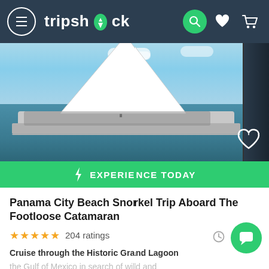tripshock — navigation header with menu, logo, search, heart, and cart icons
[Figure (photo): A catamaran sailboat on blue ocean water with passengers on board, blue sky with scattered clouds. A dark post is visible at right edge.]
⚡ EXPERIENCE TODAY
Panama City Beach Snorkel Trip Aboard The Footloose Catamaran
★★★★★ 204 ratings
Cruise through the Historic Grand Lagoon the Gulf of Mexico in search of wild and
Read more ∨
from